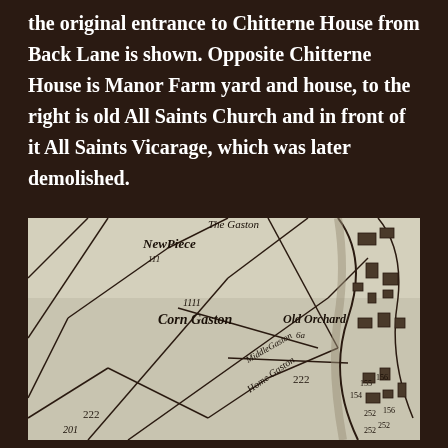... it is interesting to see that the original entrance to Chitterne House from Back Lane is shown. Opposite Chitterne House is Manor Farm yard and house, to the right is old All Saints Church and in front of it All Saints Vicarage, which was later demolished.
[Figure (map): Historical hand-drawn map showing land parcels labeled 'New Piece', 'Corn Gaston', 'Middle Gaston', 'Old Orchard', 'Home Gaston', with plot numbers 201, 222, 154, 155, 156, 252, 252, 222 and buildings on the right side.]